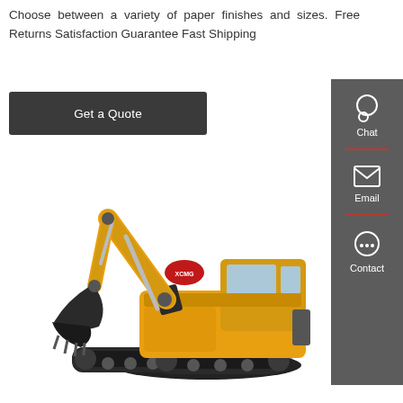Choose between a variety of paper finishes and sizes. Free Returns Satisfaction Guarantee Fast Shipping
Get a Quote
[Figure (photo): XCMG yellow hydraulic excavator on white background]
Chat
Email
Contact